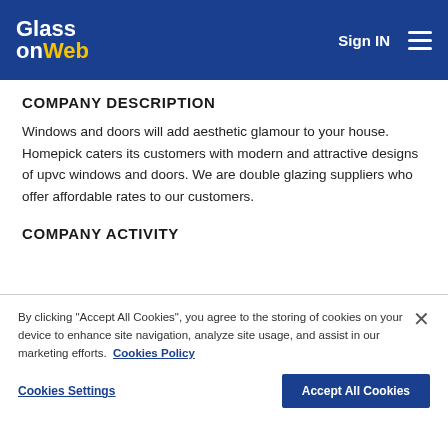GlassonWeb  Sign IN
COMPANY DESCRIPTION
Windows and doors will add aesthetic glamour to your house. Homepick caters its customers with modern and attractive designs of upvc windows and doors. We are double glazing suppliers who offer affordable rates to our customers.
COMPANY ACTIVITY
By clicking "Accept All Cookies", you agree to the storing of cookies on your device to enhance site navigation, analyze site usage, and assist in our marketing efforts.  Cookies Policy